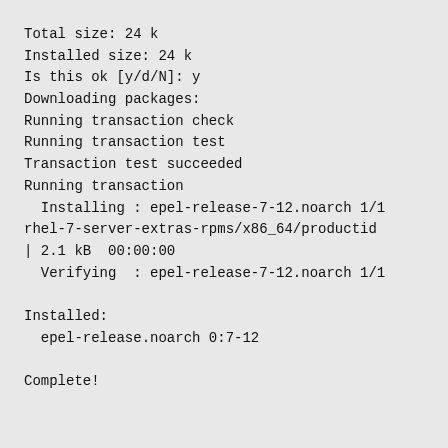Total size: 24 k
Installed size: 24 k
Is this ok [y/d/N]: y
Downloading packages:
Running transaction check
Running transaction test
Transaction test succeeded
Running transaction
  Installing : epel-release-7-12.noarch 1/1
rhel-7-server-extras-rpms/x86_64/productid
| 2.1 kB  00:00:00
  Verifying  : epel-release-7-12.noarch 1/1

Installed:
  epel-release.noarch 0:7-12

Complete!